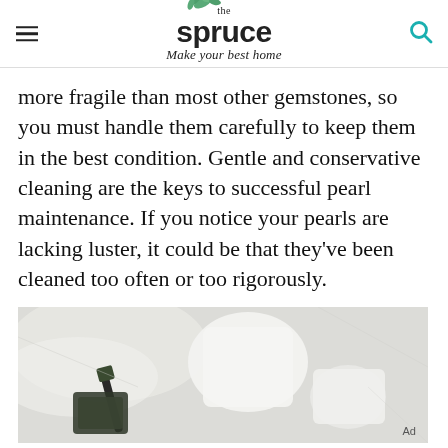the spruce – Make your best home
more fragile than most other gemstones, so you must handle them carefully to keep them in the best condition. Gentle and conservative cleaning are the keys to successful pearl maintenance. If you notice your pearls are lacking luster, it could be that they've been cleaned too often or too rigorously.
[Figure (photo): Overhead flat-lay photo of cleaning supplies including white ceramic bowls/pitchers and a dark brush on a marble surface with light fabric.]